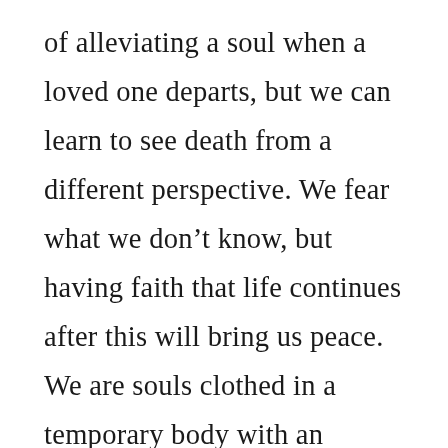of alleviating a soul when a loved one departs, but we can learn to see death from a different perspective. We fear what we don’t know, but having faith that life continues after this will bring us peace. We are souls clothed in a temporary body with an expiration date. The dead are not dead; they are fellow travelers who have an earlier departure flight home